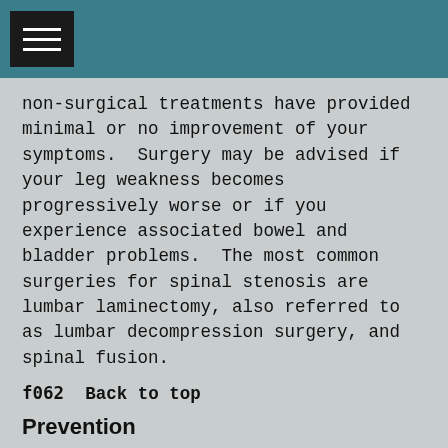[Figure (other): Teal header bar with hamburger menu icon (three horizontal white lines on black background)]
non-surgical treatments have provided minimal or no improvement of your symptoms. Surgery may be advised if your leg weakness becomes progressively worse or if you experience associated bowel and bladder problems. The most common surgeries for spinal stenosis are lumbar laminectomy, also referred to as lumbar decompression surgery, and spinal fusion.
f062  Back to top
Prevention
One of the best ways to help prevent spinal stenosis is to perform regular exercise to help keep your back strong. It can be helpful to achieve and maintain a healthy weight. Do not